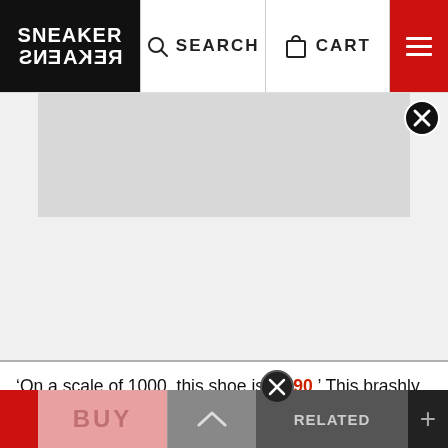SNEAKER FREAKER — navigation bar with SEARCH, CART, and menu
[Figure (photo): Product image area showing a light gray rectangular image placeholder for a sneaker, with a close/dismiss button (circled X) in the top right corner]
'On a scale of 1000, this shoe is a 990.' This brashly confident piece of copy has proven true for almost 40 years, as New Balance's premier runner maintains its presence as a status symbol among the sneaker community. For those who've yet to experience the OG
BUY | ∧ | RELATED +